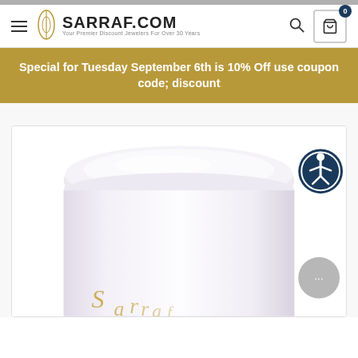SARRAF.COM — Your Premier Discount Jewelers For Over 30 Years
Special for Tuesday September 6th is 10% Off use coupon code; discount
[Figure (photo): Close-up product photo of a white cylindrical jar/candle with a gold script logo partially visible at bottom, shown against a white background with a rounded lid visible at the top.]